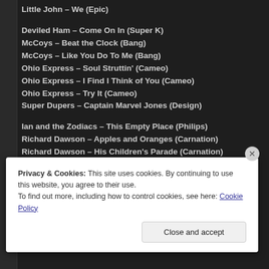Little John – We (Epic)
Deviled Ham – Come On In (Super K)
McCoys – Beat the Clock (Bang)
McCoys – Like You Do To Me (Bang)
Ohio Express – Soul Struttin' (Cameo)
Ohio Express – I Find I Think of You (Cameo)
Ohio Express – Try It (Cameo)
Super Dupers – Captain Marvel Jones (Design)
Ian and the Zodiacs – This Empty Place (Philips)
Richard Dawson – Apples and Oranges (Carnation)
Richard Dawson – His Children's Parade (Carnation)
Christmas Spirit – Will You Still Believe In Me (White Whale)
Privacy & Cookies: This site uses cookies. By continuing to use this website, you agree to their use.
To find out more, including how to control cookies, see here: Cookie Policy